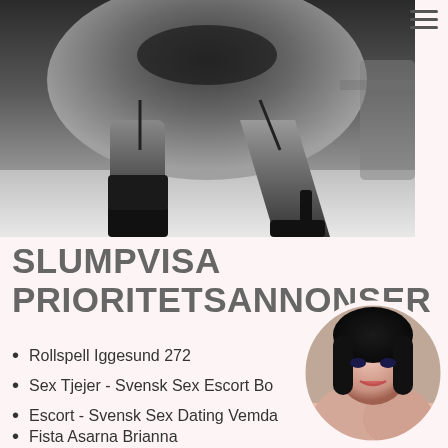[Figure (photo): Black and white photograph showing a person in lingerie and high heels from waist down, crouching on a carpeted floor]
SLUMPVISA PRIORITETSANNONSER
Rollspell Iggesund 272
Sex Tjejer - Svensk Sex Escort Bo
Escort - Svensk Sex Dating Vemda
Fista Asarna Brianna
[Figure (photo): Circular profile photo of a dark-haired woman]